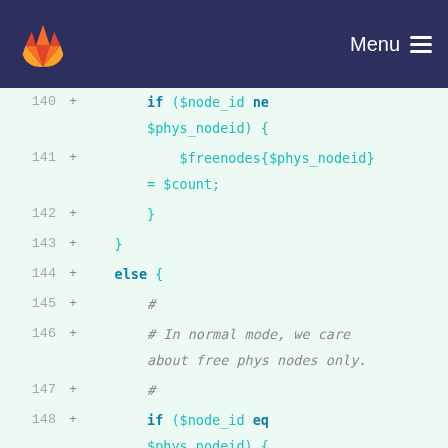Menu
[Figure (screenshot): GitLab code diff view showing PHP code lines 140-154. Lines show conditional logic with $node_id, $phys_nodeid, $freenodes, $count variables, else block with comments about normal mode and free phys nodes.]